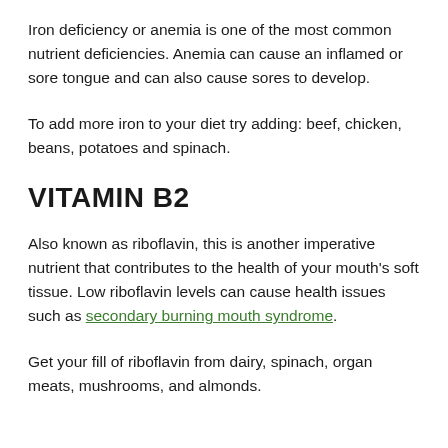Iron deficiency or anemia is one of the most common nutrient deficiencies. Anemia can cause an inflamed or sore tongue and can also cause sores to develop.
To add more iron to your diet try adding: beef, chicken, beans, potatoes and spinach.
VITAMIN B2
Also known as riboflavin, this is another imperative nutrient that contributes to the health of your mouth's soft tissue. Low riboflavin levels can cause health issues such as secondary burning mouth syndrome.
Get your fill of riboflavin from dairy, spinach, organ meats, mushrooms, and almonds.